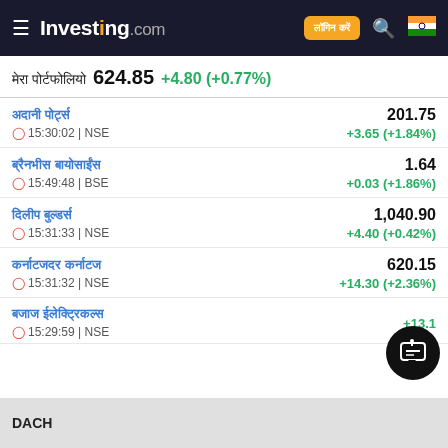Investing.com
624.85 +4.80 (+0.77%)
201.75 +3.65 (+1.84%) 15:30:02 | NSE
1.64 +0.03 (+1.86%) 15:49:48 | BSE
1,040.90 +4.40 (+0.42%) 15:31:33 | NSE
620.15 +14.30 (+2.36%) 15:31:32 | NSE
+13.1...% 15:29:59 | NSE